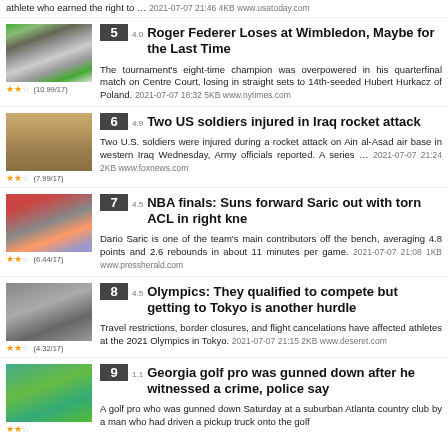athlete who earned the right to … 2021-07-07 21:46 4KB www.usatoday.com
[Figure (photo): Crowd at Wimbledon tennis tournament]
★★☆ (10.99/17)
5  4.0  Roger Federer Loses at Wimbledon, Maybe for the Last Time
The tournament's eight-time champion was overpowered in his quarterfinal match on Centre Court, losing in straight sets to 14th-seeded Hubert Hurkacz of Poland. 2021-07-07 18:32 5KB www.nytimes.com
[Figure (photo): Aerial view of Ain al-Asad air base in Iraq]
★★☆ (7.99/17)
6  4.9  Two US soldiers injured in Iraq rocket attack
Two U.S. soldiers were injured during a rocket attack on Ain al-Asad air base in western Iraq Wednesday, Army officials reported. A series … 2021-07-07 21:24 2KB www.foxnews.com
[Figure (photo): NBA players on court]
★★☆ (6.44/17)
7  4.5  NBA finals: Suns forward Saric out with torn ACL in right kne
Dario Saric is one of the team's main contributors off the bench, averaging 4.8 points and 2.6 rebounds in about 11 minutes per game. 2021-07-07 21:08 1KB www.pressherald.com
[Figure (photo): Olympic venue building]
★★☆ (4.32/17)
8  4.5  Olympics: They qualified to compete but getting to Tokyo is another hurdle
Travel restrictions, border closures, and flight cancelations have affected athletes at the 2021 Olympics in Tokyo. 2021-07-07 21:15 2KB www.deseret.com
[Figure (photo): Golf course with flag]
★★☆
9  1.1  Georgia golf pro was gunned down after he witnessed a crime, police say
A golf pro who was gunned down Saturday at a suburban Atlanta country club by a man who had driven a pickup truck onto the golf